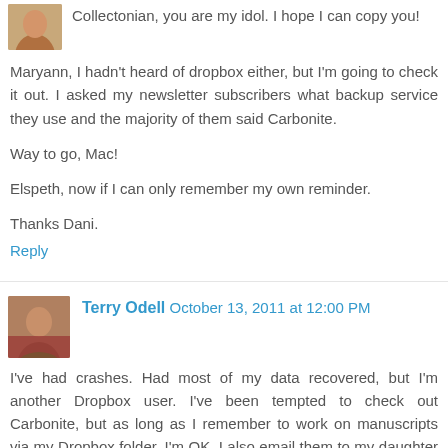[Figure (photo): Small avatar photo of a person (partial, cropped at top)]
Collectonian, you are my idol. I hope I can copy you!

Maryann, I hadn't heard of dropbox either, but I'm going to check it out. I asked my newsletter subscribers what backup service they use and the majority of them said Carbonite.

Way to go, Mac!

Elspeth, now if I can only remember my own reminder.

Thanks Dani.
Reply
[Figure (photo): Small avatar photo of a woman with long hair]
Terry Odell  October 13, 2011 at 12:00 PM
I've had crashes. Had most of my data recovered, but I'm another Dropbox user. I've been tempted to check out Carbonite, but as long as I remember to work on manuscripts via my Dropbox folder, I'm OK. I also email them to my daughter in Ireland. Figure we won't both suffer crashes at the same time.